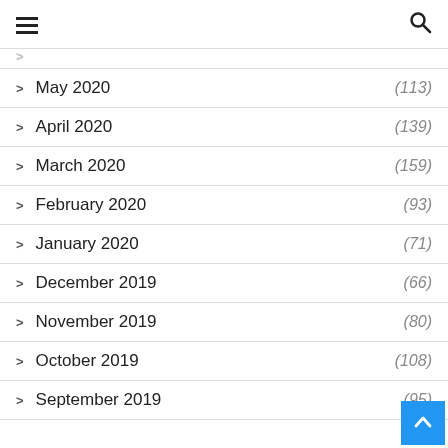≡  🔍
> May 2020 (113)
> April 2020 (139)
> March 2020 (159)
> February 2020 (93)
> January 2020 (71)
> December 2019 (66)
> November 2019 (80)
> October 2019 (108)
> September 2019 (95)